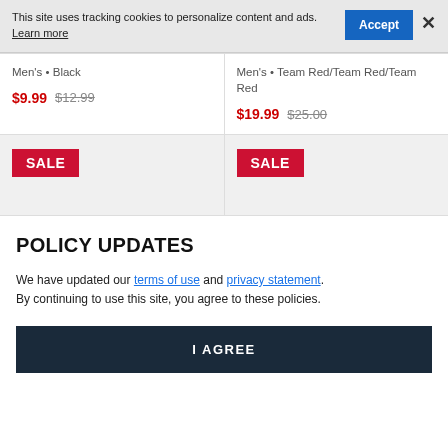This site uses tracking cookies to personalize content and ads. Learn more
Men's • Black
$9.99  $12.99
Men's • Team Red/Team Red/Team Red
$19.99  $25.00
[Figure (other): SALE badge on grey background]
[Figure (other): SALE badge on grey background]
POLICY UPDATES
We have updated our terms of use and privacy statement. By continuing to use this site, you agree to these policies.
I AGREE